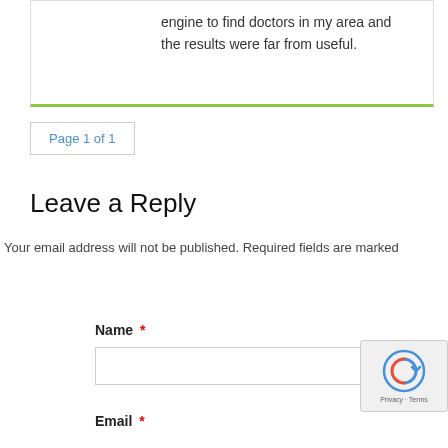engine to find doctors in my area and the results were far from useful.
Page 1 of 1
Leave a Reply
Your email address will not be published. Required fields are marked
Name *
Email *